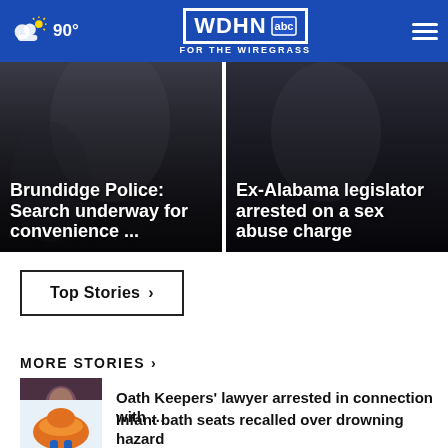WDHN FOR THE WIREGRASS | 90°
[Figure (screenshot): Hero news image left: Brundidge Police: Search underway for convenience ...]
[Figure (screenshot): Hero news image right: Ex-Alabama legislator arrested on a sex abuse charge]
Top Stories ›
MORE STORIES ›
[Figure (photo): Thumbnail photo of woman in dark setting for Oath Keepers lawyer story]
Oath Keepers' lawyer arrested in connection with …
[Figure (photo): Thumbnail photo of orange infant bath seat]
Infant bath seats recalled over drowning hazard